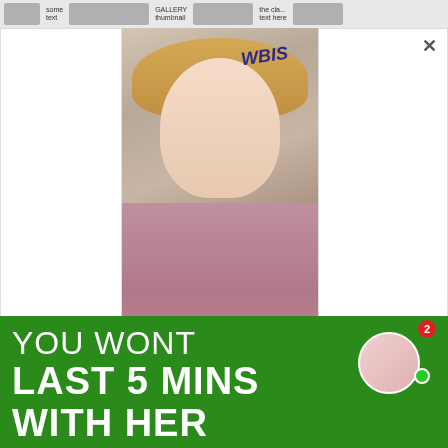[Figure (screenshot): Screenshot of a webpage showing a modal/popup advertisement overlaid on a browser page. The popup contains a photo of a young blonde woman wearing a pink outfit. Behind the popup are visible webpage content strips. The lower portion shows a green banner advertisement with text.]
WBIS
YOU WONT LAST 5 MINS WITH HER